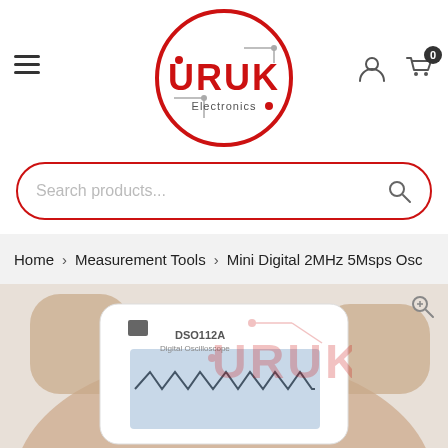[Figure (logo): URUK Electronics circular logo with red border, circuit board design and red URUK text]
[Figure (screenshot): Search bar with red rounded border, placeholder text 'Search products...' and magnifying glass icon]
Home > Measurement Tools > Mini Digital 2MHz 5Msps Osc
[Figure (photo): Hand holding a white DSO112A Digital Oscilloscope device showing waveform on screen, with URUK watermark overlay]